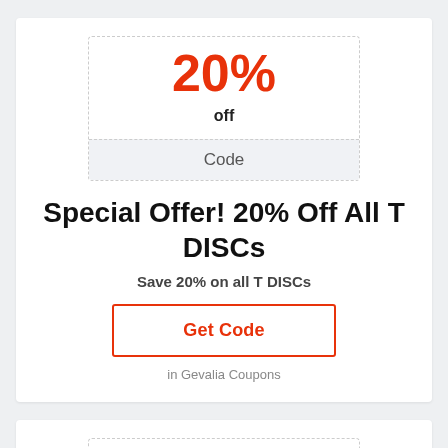[Figure (infographic): Coupon box with dashed border showing 20% discount with 'off' label and 'Code' bar at bottom]
Special Offer! 20% Off All T DISCs
Save 20% on all T DISCs
Get Code
in Gevalia Coupons
[Figure (infographic): Partial second coupon card showing 25% in red text]